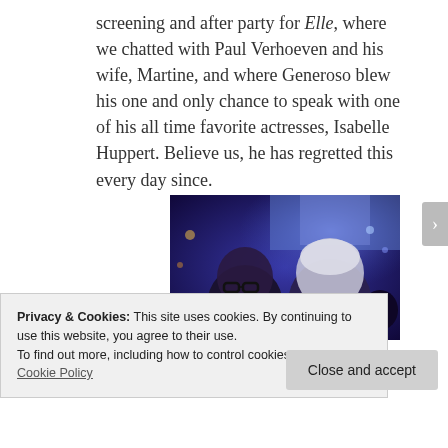screening and after party for Elle, where we chatted with Paul Verhoeven and his wife, Martine, and where Generoso blew his one and only chance to speak with one of his all time favorite actresses, Isabelle Huppert. Believe us, he has regretted this every day since.
[Figure (photo): A photo taken at a film event/after party showing a woman with black glasses taking a selfie with an older man with white hair. The background shows a blue-lit event venue with a crowd of people.]
Privacy & Cookies: This site uses cookies. By continuing to use this website, you agree to their use.
To find out more, including how to control cookies, see here: Cookie Policy
Close and accept